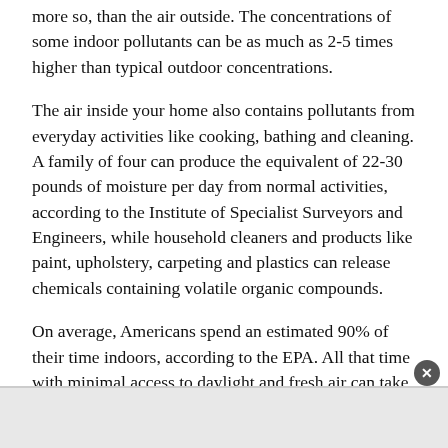more so, than the air outside. The concentrations of some indoor pollutants can be as much as 2-5 times higher than typical outdoor concentrations.
The air inside your home also contains pollutants from everyday activities like cooking, bathing and cleaning. A family of four can produce the equivalent of 22-30 pounds of moisture per day from normal activities, according to the Institute of Specialist Surveyors and Engineers, while household cleaners and products like paint, upholstery, carpeting and plastics can release chemicals containing volatile organic compounds.
On average, Americans spend an estimated 90% of their time indoors, according to the EPA. All that time with minimal access to daylight and fresh air can take a toll on your health. These steps for managing indoor air quality can help you create a healthier home.